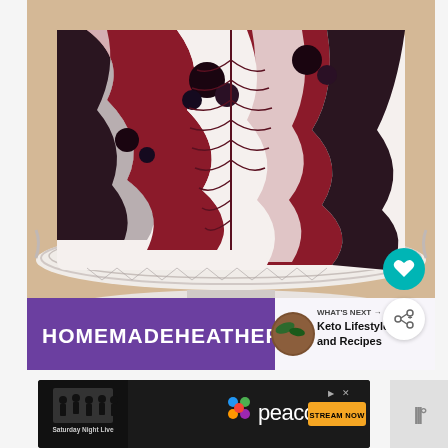[Figure (photo): Close-up photo of a cheesecake with blueberry swirl topping on a white decorative cake stand, with 'HOMEMADEHEATHER.COM' text overlay on a purple banner at the bottom. Includes a 'What's Next: Keto Lifestyle and Recipes' panel, and heart/share button icons.]
[Figure (screenshot): Peacock streaming service advertisement banner showing Saturday Night Live promotion with 'Stream Now' button in orange.]